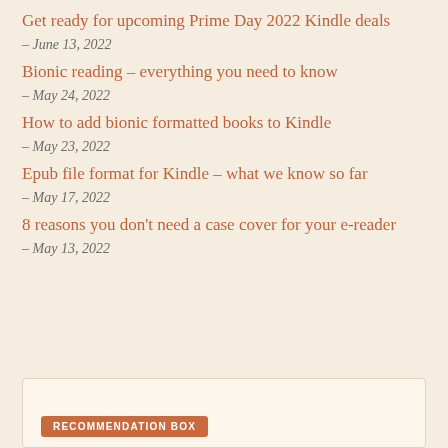Get ready for upcoming Prime Day 2022 Kindle deals
– June 13, 2022
Bionic reading – everything you need to know
– May 24, 2022
How to add bionic formatted books to Kindle
– May 23, 2022
Epub file format for Kindle – what we know so far
– May 17, 2022
8 reasons you don't need a case cover for your e-reader
– May 13, 2022
RECOMMENDATION BOX